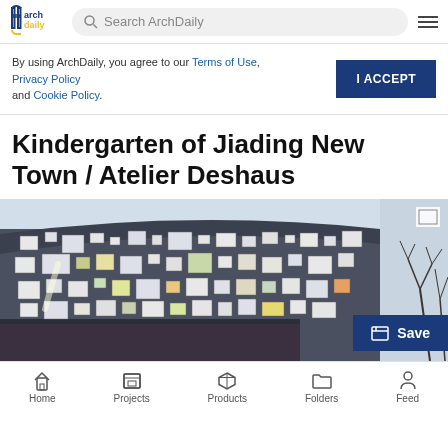ArchDaily — Search ArchDaily
By using ArchDaily, you agree to our Terms of Use, Privacy Policy and Cookie Policy.
I ACCEPT
Kindergarten of Jiading New Town / Atelier Deshaus
[Figure (photo): Exterior photo of the Kindergarten of Jiading New Town building — a multi-story structure with a dark corrugated metal facade featuring irregularly placed rectangular windows of varying sizes and colors (white, yellow, green, orange). The photo is taken at a low angle against a pale blue sky, with bare tree branches visible on the right.]
Save
Home   Projects   Products   Folders   Feed